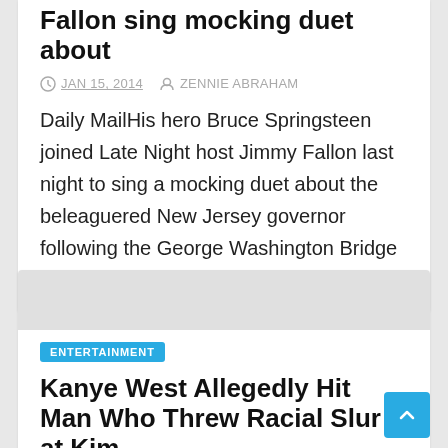Fallon sing mocking duet about
JAN 15, 2014   ZENNIE ABRAHAM
Daily MailHis hero Bruce Springsteen joined Late Night host Jimmy Fallon last night to sing a mocking duet about the beleaguered New Jersey governor following the George Washington Bridge scandal....
ENTERTAINMENT
Kanye West Allegedly Hit Man Who Threw Racial Slur at Kim
JAN 14, 2014   ZENNIE ABRAHAM